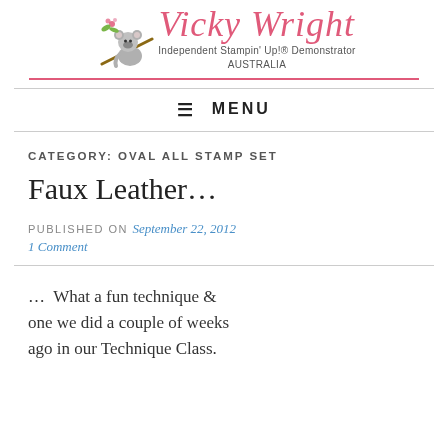[Figure (logo): Vicky Wright brand logo with a koala illustration on a branch with pink flowers, pink cursive 'Vicky Wright' text, subtitle 'Independent Stampin' Up!® Demonstrator AUSTRALIA', and a pink horizontal line underneath]
≡ MENU
CATEGORY: OVAL ALL STAMP SET
Faux Leather…
PUBLISHED ON September 22, 2012
1 Comment
… What a fun technique & one we did a couple of weeks ago in our Technique Class.